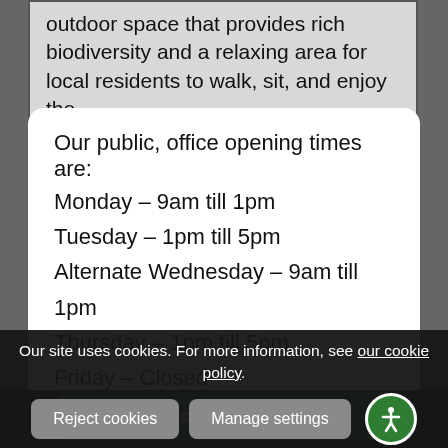outdoor space that provides rich biodiversity and a relaxing area for local residents to walk, sit, and enjoy the
Our public, office opening times are:
Monday – 9am till 1pm
Tuesday – 1pm till 5pm
Alternate Wednesday – 9am till 1pm
Thursday – 1pm till 5pm
Friday – Closed
Our site uses cookies. For more information, see our cookie policy.
Accept cookies and close
Reject cookies
Manage settings
The ancient trees, native shrubs, and areas enclosed by a native hedge boundaries were